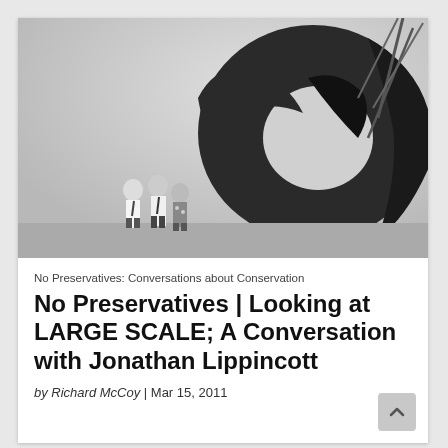[Figure (photo): Black and white photograph showing a large abstract metal sculpture with curved forms and an opening, with three people standing to the lower left for scale, and foliage visible in the background.]
No Preservatives: Conversations about Conservation
No Preservatives | Looking at LARGE SCALE; A Conversation with Jonathan Lippincott
by Richard McCoy | Mar 15, 2011